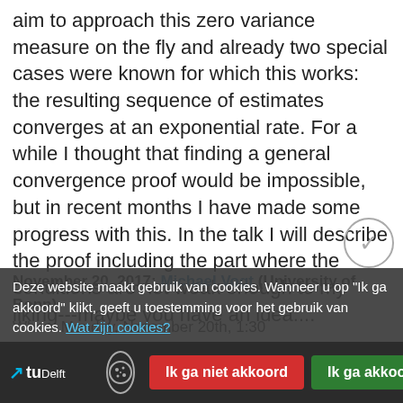aim to approach this zero variance measure on the fly and already two special cases were known for which this works: the resulting sequence of estimates converges at an exponential rate. For a while I thought that finding a general convergence proof would be impossible, but in recent months I have made some progress with this. In the talk I will describe the proof including the part where the conditions are not weak enough to my liking---maybe you have an idea....
November 20, 2017: Michael Vogt (University of Bonn)
When: Monday, November 20th, 1:30
Where: TU Delft, Faculty EWI, Mekelweg 4, Lecture hall
Deze website maakt gebruik van cookies. Wanneer u op "Ik ga akkoord" klikt, geeft u toestemming voor het gebruik van cookies. Wat zijn cookies?